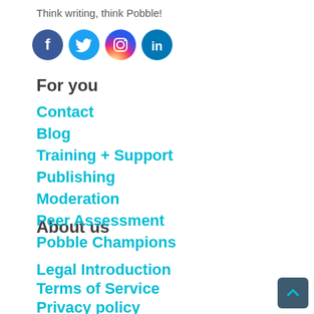Think writing, think Pobble!
[Figure (illustration): Four social media icons in circles: Facebook (dark blue), Twitter (light blue), Instagram (pink/purple gradient), LinkedIn (dark blue)]
For you
Contact
Blog
Training + Support
Publishing
Moderation
Peer Assessment
Pobble Champions
About us
Legal Introduction
Terms of Service
Privacy policy